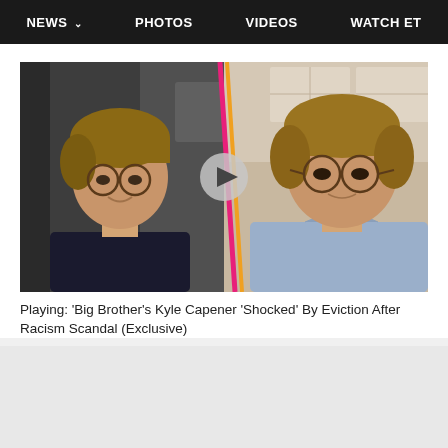NEWS  PHOTOS  VIDEOS  WATCH ET
[Figure (screenshot): Split-screen video thumbnail showing a young man with brown hair and glasses wearing a dark shirt on the left side, and the same or similar young man with glasses in a light blue shirt on the right side. A diagonal colored stripe (pink/orange) divides the two panels. A play button is centered on the image.]
Playing: 'Big Brother's Kyle Capener 'Shocked' By Eviction After Racism Scandal (Exclusive)